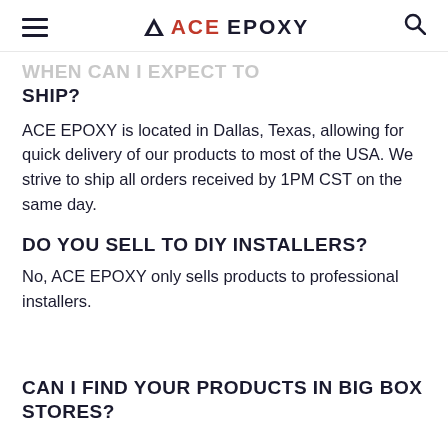≡  ▲ ACE EPOXY  🔍
WHEN CAN I EXPECT TO SHIP?
ACE EPOXY is located in Dallas, Texas, allowing for quick delivery of our products to most of the USA. We strive to ship all orders received by 1PM CST on the same day.
DO YOU SELL TO DIY INSTALLERS?
No, ACE EPOXY only sells products to professional installers.
CAN I FIND YOUR PRODUCTS IN BIG BOX STORES?